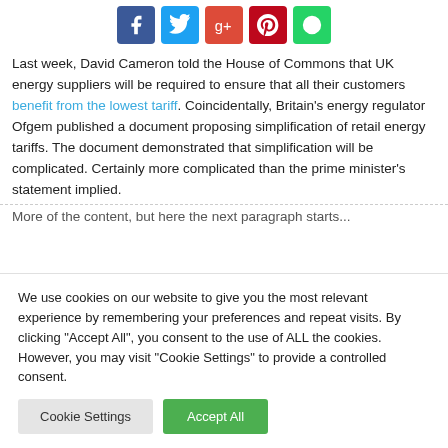[Figure (other): Social share buttons: Facebook (blue), Twitter (light blue), Google+ (red), Pinterest (dark red), WhatsApp (green)]
Last week, David Cameron told the House of Commons that UK energy suppliers will be required to ensure that all their customers benefit from the lowest tariff. Coincidentally, Britain's energy regulator Ofgem published a document proposing simplification of retail energy tariffs. The document demonstrated that simplification will be complicated. Certainly more complicated than the prime minister's statement implied.
More of the content truncated by cookie overlay...
We use cookies on our website to give you the most relevant experience by remembering your preferences and repeat visits. By clicking "Accept All", you consent to the use of ALL the cookies. However, you may visit "Cookie Settings" to provide a controlled consent.